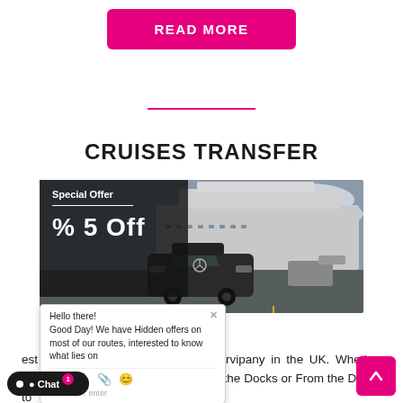READ MORE
CRUISES TRANSFER
[Figure (photo): A black Mercedes car parked near a cruise ship dock, with a large cruise ship visible in the background under a cloudy sky. A dark semi-transparent overlay on the left shows 'Special Offer' text and '% 5 Off' discount.]
Hello there! Good Day! We have Hidden offers on most of our routes, interested to know what lies on
est Cruise transportation Minicab servi pany in the UK. Whether your Arriving and N Transportation to the Docks or From the Docks to